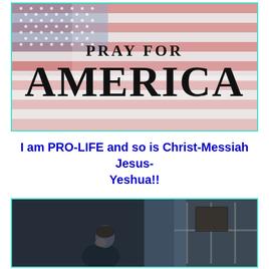[Figure (illustration): American flag background with bold text overlay reading 'PRAY FOR AMERICA', framed with a cyan border]
I am PRO-LIFE and so is Christ-Messiah Jesus-Yeshua!!
[Figure (photo): Dark-toned photo of a woman appearing to pray or reflect, sitting near a window indoors]